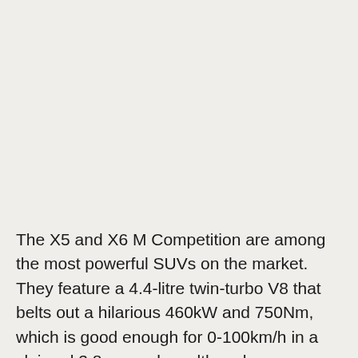The X5 and X6 M Competition are among the most powerful SUVs on the market. They feature a 4.4-litre twin-turbo V8 that belts out a hilarious 460kW and 750Nm, which is good enough for 0-100km/h in a claimed 3.8 seconds – although,